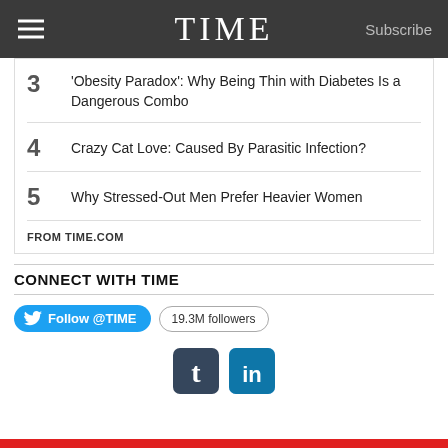TIME — Subscribe
3  'Obesity Paradox': Why Being Thin with Diabetes Is a Dangerous Combo
4  Crazy Cat Love: Caused By Parasitic Infection?
5  Why Stressed-Out Men Prefer Heavier Women
FROM TIME.COM
CONNECT WITH TIME
Follow @TIME   19.3M followers
[Figure (logo): Tumblr and LinkedIn social media icons]